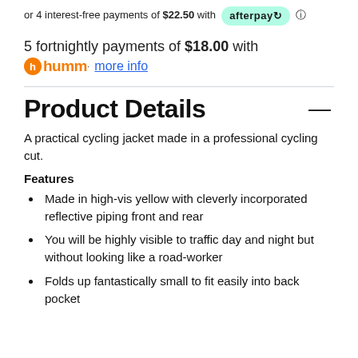or 4 interest-free payments of $22.50 with afterpay
5 fortnightly payments of $18.00 with humm more info
Product Details
A practical cycling jacket made in a professional cycling cut.
Features
Made in high-vis yellow with cleverly incorporated reflective piping front and rear
You will be highly visible to traffic day and night but without looking like a road-worker
Folds up fantastically small to fit easily into back pocket